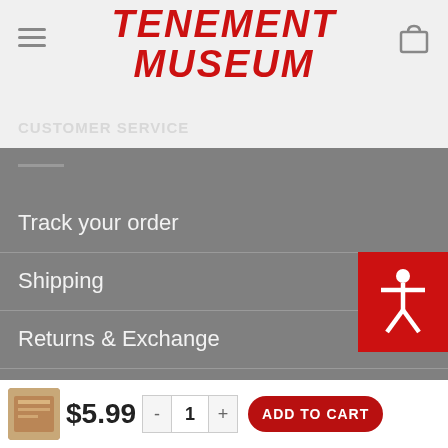TENEMENT MUSEUM
CUSTOMER SERVICE
Track your order
Shipping
Returns & Exchange
Privacy Policy
Contact Page
MUSEUM SHOP
103 Orchard St
New Y... 0000
$5.99
ADD TO CART